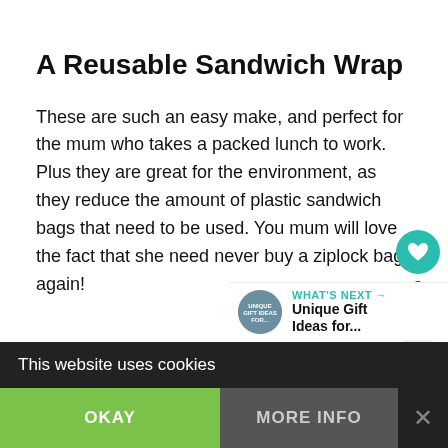A Reusable Sandwich Wrap
These are such an easy make, and perfect for the mum who takes a packed lunch to work. Plus they are great for the environment, as they reduce the amount of plastic sandwich bags that need to be used. You mum will love the fact that she need never buy a ziplock bag again!
[Figure (infographic): Social interaction panel with teal heart button showing count of 3, and a share button below]
[Figure (infographic): What's Next promo block showing a circular thumbnail and text 'Unique Gift Ideas for...']
This website uses cookies
OKAY
MORE INFO